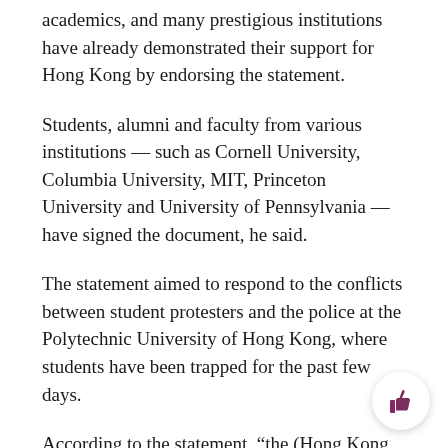academics, and many prestigious institutions have already demonstrated their support for Hong Kong by endorsing the statement.
Students, alumni and faculty from various institutions — such as Cornell University, Columbia University, MIT, Princeton University and University of Pennsylvania — have signed the document, he said.
The statement aimed to respond to the conflicts between student protesters and the police at the Polytechnic University of Hong Kong, where students have been trapped for the past few days.
According to the statement, “the (Hong Kong Police Force) threatened the students with the use of live ammunition on the campus… and subsequently invaded PolyU with brute force” on Nov. 18.